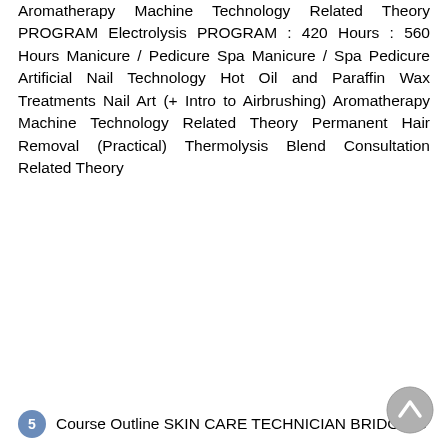Aromatherapy Machine Technology Related Theory PROGRAM Electrolysis PROGRAM : 420 Hours : 560 Hours Manicure / Pedicure Spa Manicure / Spa Pedicure Artificial Nail Technology Hot Oil and Paraffin Wax Treatments Nail Art (+ Intro to Airbrushing) Aromatherapy Machine Technology Related Theory Permanent Hair Removal (Practical) Thermolysis Blend Consultation Related Theory
5  Course Outline SKIN CARE TECHNICIAN BRIDGING